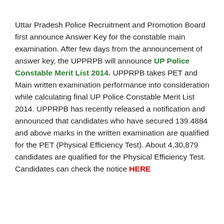Uttar Pradesh Police Recruitment and Promotion Board first announce Answer Key for the constable main examination. After few days from the announcement of answer key, the UPPRPB will announce UP Police Constable Merit List 2014. UPPRPB takes PET and Main written examination performance into consideration while calculating final UP Police Constable Merit List 2014. UPPRPB has recently released a notification and announced that candidates who have secured 139.4884 and above marks in the written examination are qualified for the PET (Physical Efficiency Test). About 4,30,879 candidates are qualified for the Physical Efficiency Test. Candidates can check the notice HERE